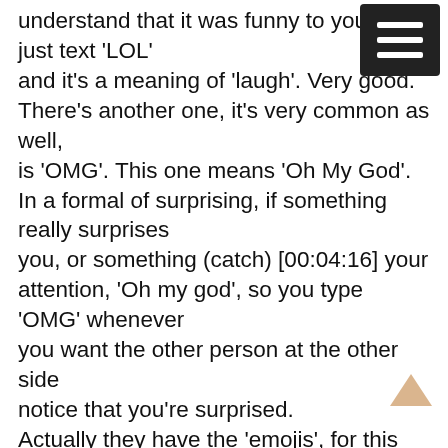understand that it was funny to you too, just text 'LOL' and it's a meaning of 'laugh'. Very good. There's another one, it's very common as well, is 'OMG'. This one means 'Oh My God'. In a formal of surprising, if something really surprises you, or something (catch) [00:04:16] your attention, 'Oh my god', so you type 'OMG' whenever you want the other person at the other side notice that you're surprised. Actually they have the 'emojis', for this 'OMG', I'm assuming that kind of fitting away because now we have an emoji for the 'OMG'. There's another one, this is common here, which is 'NSFW', meaning 'Not Safe For Work'. When people show images or videos that have nudity or violence they often label them as 'NSFW'. Teacher Ca: Vamos falar dos mais usados e populares quando estamos online e muitas vezes